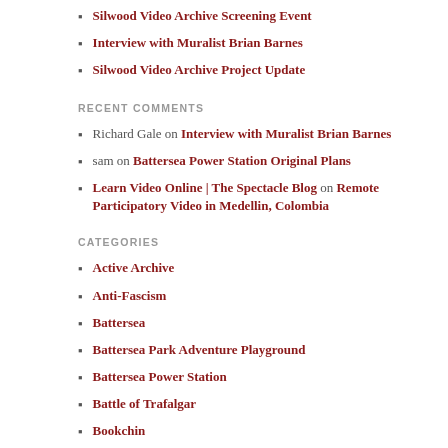Silwood Video Archive Screening Event
Interview with Muralist Brian Barnes
Silwood Video Archive Project Update
RECENT COMMENTS
Richard Gale on Interview with Muralist Brian Barnes
sam on Battersea Power Station Original Plans
Learn Video Online | The Spectacle Blog on Remote Participatory Video in Medellin, Colombia
CATEGORIES
Active Archive
Anti-Fascism
Battersea
Battersea Park Adventure Playground
Battersea Power Station
Battle of Trafalgar
Bookchin
Charlton Athletic Womens Team
Despite TV